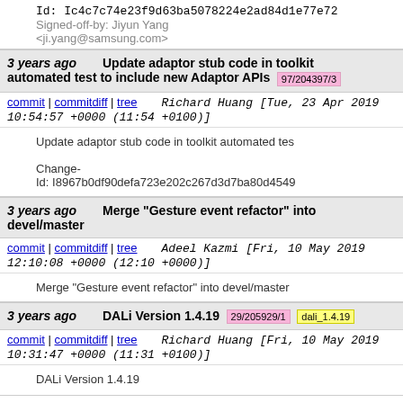Id: Ic4c7c74e23f9d63ba5078224e2ad84d1e77e72
Signed-off-by: Jiyun Yang <ji.yang@samsung.com>
3 years ago  Update adaptor stub code in toolkit automated test to include new Adaptor APIs  97/204397/3
commit | commitdiff | tree   Richard Huang [Tue, 23 Apr 2019 10:54:57 +0000 (11:54 +0100)]
Update adaptor stub code in toolkit automated tes
Change-Id: I8967b0df90defa723e202c267d3d7ba80d4549
3 years ago  Merge "Gesture event refactor" into devel/master
commit | commitdiff | tree   Adeel Kazmi [Fri, 10 May 2019 12:10:08 +0000 (12:10 +0000)]
Merge "Gesture event refactor" into devel/master
3 years ago  DALi Version 1.4.19  29/205929/1  dali_1.4.19
commit | commitdiff | tree   Richard Huang [Fri, 10 May 2019 10:31:47 +0000 (11:31 +0100)]
DALi Version 1.4.19